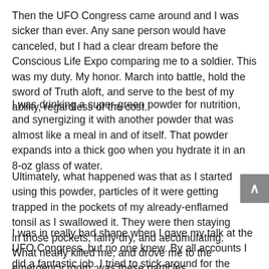Then the UFO Congress came around and I was sicker than ever. Any sane person would have canceled, but I had a clear dream before the Conscious Life Expo comparing me to a soldier. This was my duty. My honor. March into battle, hold the sword of Truth aloft, and serve to the best of my ability, regardless of the cost.
I was drinking a super-green powder for nutrition, and synergizing it with another powder that was almost like a meal in and of itself. That powder expands into a thick goo when you hydrate it in an 8-oz glass of water.
Ultimately, what happened was that as I started using this powder, particles of it were getting trapped in the pockets of my already-enflamed tonsil as I swallowed it. They were then staying in those pockets, fairly dry, and accumulating. What nearly killed me, and drove me to the emergency room, was these particles rehydrating inside the tonsil but not releasing.
I was in really bad shape when I gave my talk at the UFO Congress, but no one knew. By all accounts I did a fantastic job. I tried to stick around for the awards ceremony but I had